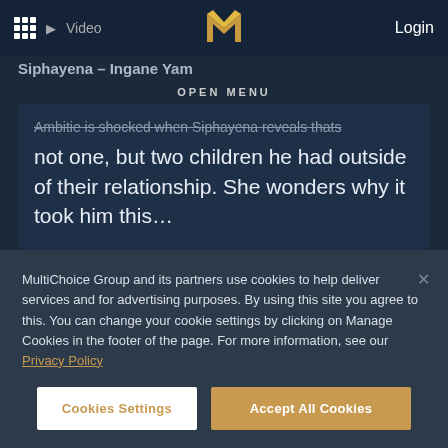[Figure (screenshot): Website navigation bar with grid icon, play/Video button, gold M logo, and Login link on dark navy background]
Siphayena – Ingane Yam
OPEN MENU
Ambitie is shocked when Siphayena reveals thats not one, but two children he had outside of their relationship. She wonders why it took him this…
MultiChoice Group and its partners use cookies to help deliver services and for advertising purposes. By using this site you agree to this. You can change your cookie settings by clicking on Manage Cookies in the footer of the page. For more information, see our Privacy Policy
Cookies Settings
Accept All Cookies